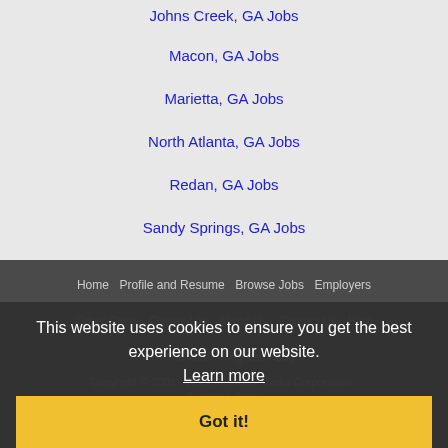Johns Creek, GA Jobs
Macon, GA Jobs
Marietta, GA Jobs
North Atlanta, GA Jobs
Redan, GA Jobs
Sandy Springs, GA Jobs
Smyrna, GA Jobs
Home | Profile and Resume | Browse Jobs | Employers | Other Cities | Clients List | About Us | Contact Us | Help | Terms of Use | Register / Log In | Copyright © 2001 - 2022 Recruiter Media Corporation - Roswell Jobs
[Figure (logo): Authorize.Net Click merchant seal badge]
This website uses cookies to ensure you get the best experience on our website. Learn more
Got it!